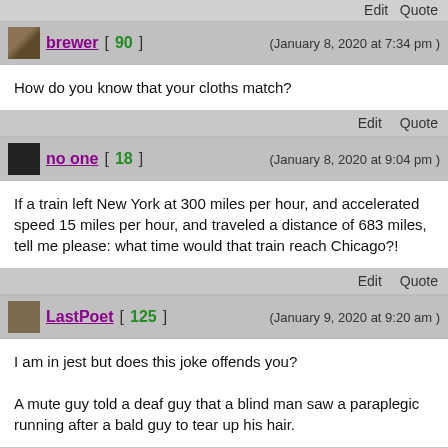Edit   Quote
brewer [ 90 ]   (January 8, 2020 at 7:34 pm)
How do you know that your cloths match?
Edit   Quote
no one [ 18 ]   (January 8, 2020 at 9:04 pm)
If a train left New York at 300 miles per hour, and accelerated speed 15 miles per hour, and traveled a distance of 683 miles, tell me please: what time would that train reach Chicago?!
Edit   Quote
LastPoet [ 125 ]   (January 9, 2020 at 9:20 am)
I am in jest but does this joke offends you?

A mute guy told a deaf guy that a blind man saw a paraplegic running after a bald guy to tear up his hair.
Edit   Quote
onlinebiker [ 17 ]   (January 9, 2020 at 11:00 am)